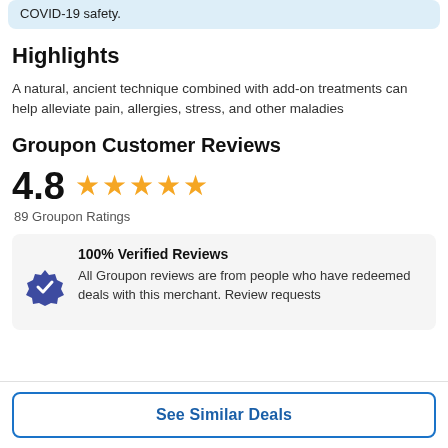COVID-19 safety.
Highlights
A natural, ancient technique combined with add-on treatments can help alleviate pain, allergies, stress, and other maladies
Groupon Customer Reviews
4.8  ★★★★★  89 Groupon Ratings
100% Verified Reviews
All Groupon reviews are from people who have redeemed deals with this merchant. Review requests
See Similar Deals